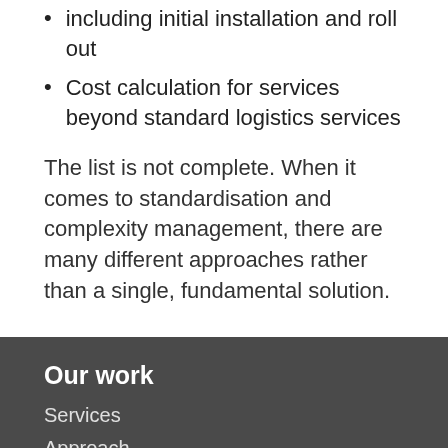including initial installation and roll out
Cost calculation for services beyond standard logistics services
The list is not complete. When it comes to standardisation and complexity management, there are many different approaches rather than a single, fundamental solution.
Our work
Services
Approach
Working Together